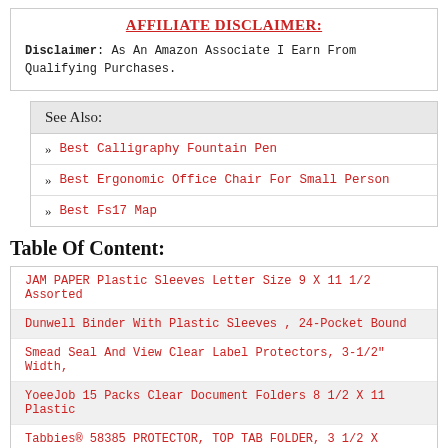AFFILIATE DISCLAIMER:
Disclaimer: As An Amazon Associate I Earn From Qualifying Purchases.
See Also:
Best Calligraphy Fountain Pen
Best Ergonomic Office Chair For Small Person
Best Fs17 Map
Table Of Content:
JAM PAPER Plastic Sleeves Letter Size 9 X 11 1/2 Assorted
Dunwell Binder With Plastic Sleeves , 24-Pocket Bound
Smead Seal And View Clear Label Protectors, 3-1/2" Width,
YoeeJob 15 Packs Clear Document Folders 8 1/2 X 11 Plastic
Tabbies® 58385 PROTECTOR, TOP TAB FOLDER, 3 1/2 X
Sheet Protectors, Holds 8.5 X 11 Inch Sheets, 9.25 X 11.25